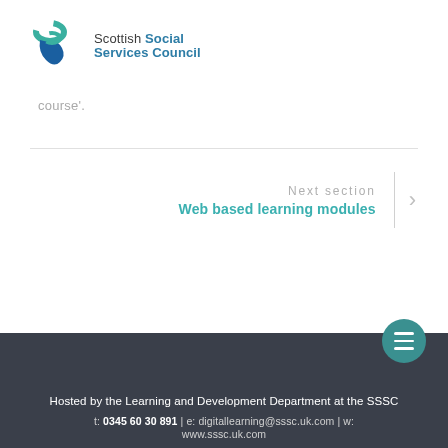[Figure (logo): Scottish Social Services Council logo with swoosh icon and text]
course'.
Next section
Web based learning modules
Hosted by the Learning and Development Department at the SSSC
t: 0345 60 30 891 | e: digitallearning@sssc.uk.com | w: www.sssc.uk.com